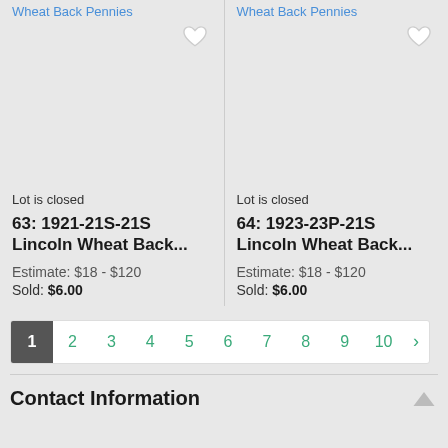Wheat Back Pennies
Wheat Back Pennies
Lot is closed
63: 1921-21S-21S Lincoln Wheat Back...
Estimate: $18 - $120
Sold: $6.00
Lot is closed
64: 1923-23P-21S Lincoln Wheat Back...
Estimate: $18 - $120
Sold: $6.00
1 2 3 4 5 6 7 8 9 10 ›
Contact Information